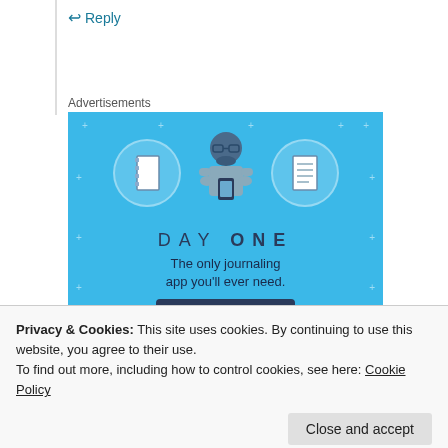↩ Reply
Advertisements
[Figure (illustration): Day One journaling app advertisement on a sky-blue background with illustrated icons of a notebook, a person looking at a phone, and a lined notepad. Text reads 'DAY ONE – The only journaling app you'll ever need.' with a 'Get the app' button.]
Privacy & Cookies: This site uses cookies. By continuing to use this website, you agree to their use. To find out more, including how to control cookies, see here: Cookie Policy
Close and accept
March 18, 2007 at 3:35 am